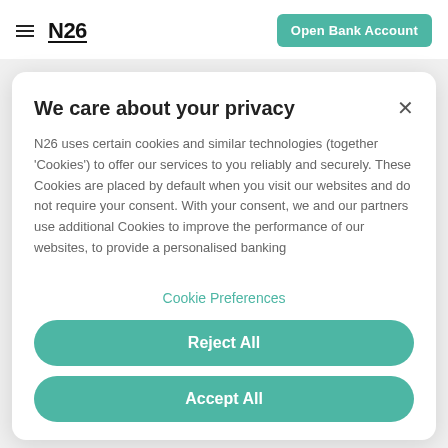N26 — Open Bank Account
We care about your privacy
N26 uses certain cookies and similar technologies (together 'Cookies') to offer our services to you reliably and securely. These Cookies are placed by default when you visit our websites and do not require your consent. With your consent, we and our partners use additional Cookies to improve the performance of our websites, to provide a personalised banking
Cookie Preferences
Reject All
Accept All